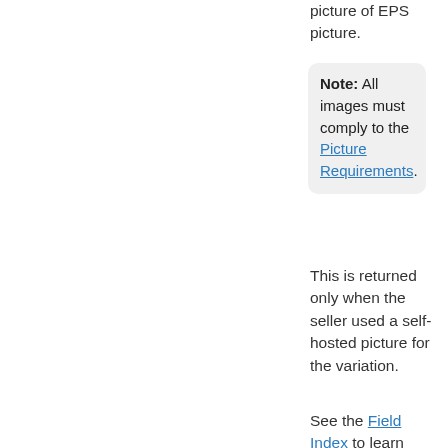picture of EPS picture.
Note: All images must comply to the Picture Requirements.
This is returned only when the seller used a self-hosted picture for the variation.
See the Field Index to learn